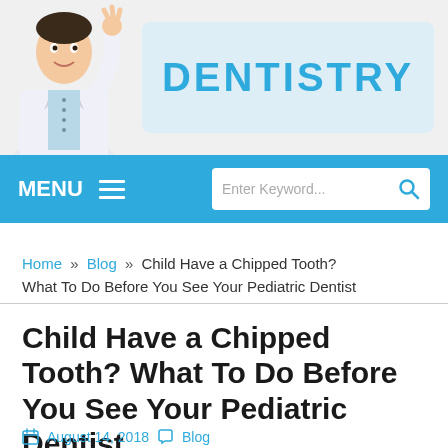[Figure (illustration): Cartoon illustration of a doctor/dentist in white coat waving, with blue 'DENTISTRY' text logo on light blue background]
MENU  ☰      [search: Enter Keyword...]
Home » Blog » Child Have a Chipped Tooth? What To Do Before You See Your Pediatric Dentist
Child Have a Chipped Tooth? What To Do Before You See Your Pediatric Dentist
August 14, 2018  Blog